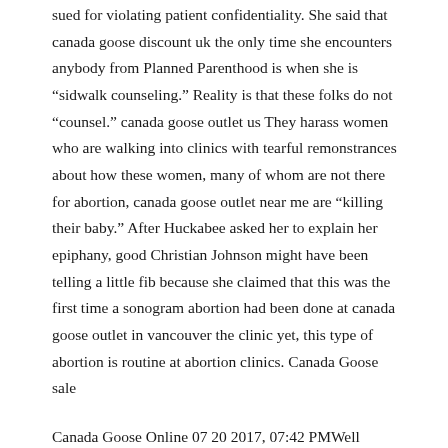sued for violating patient confidentiality. She said that canada goose discount uk the only time she encounters anybody from Planned Parenthood is when she is “sidwalk counseling.” Reality is that these folks do not “counsel.” canada goose outlet us They harass women who are walking into clinics with tearful remonstrances about how these women, many of whom are not there for abortion, canada goose outlet near me are “killing their baby.” After Huckabee asked her to explain her epiphany, good Christian Johnson might have been telling a little fib because she claimed that this was the first time a sonogram abortion had been done at canada goose outlet in vancouver the clinic yet, this type of abortion is routine at abortion clinics. Canada Goose sale
Canada Goose Online 07 20 2017, 07:42 PMWell apparently when Orion re starts the supply mix will shift